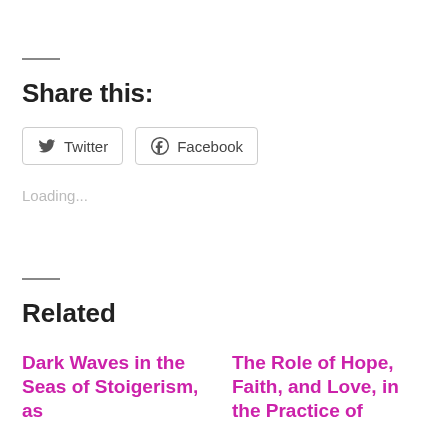Share this:
Twitter   Facebook
Loading...
Related
Dark Waves in the Seas of Stoigerism, as
The Role of Hope, Faith, and Love, in the Practice of